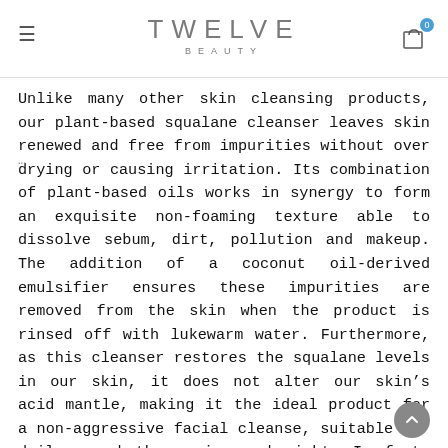TWELVE BEAUTY
Unlike many other skin cleansing products, our plant-based squalane cleanser leaves skin renewed and free from impurities without over drying or causing irritation. Its combination of plant-based oils works in synergy to form an exquisite non-foaming texture able to dissolve sebum, dirt, pollution and makeup. The addition of a coconut oil-derived emulsifier ensures these impurities are removed from the skin when the product is rinsed off with lukewarm water. Furthermore, as this cleanser restores the squalane levels in our skin, it does not alter our skin's acid mantle, making it the ideal product for a non-aggressive facial cleanse, suitable for daily use both morning and night. In fact, truth be told, I see it as more a skin “treatment” rather than a simple cleanser. Despite